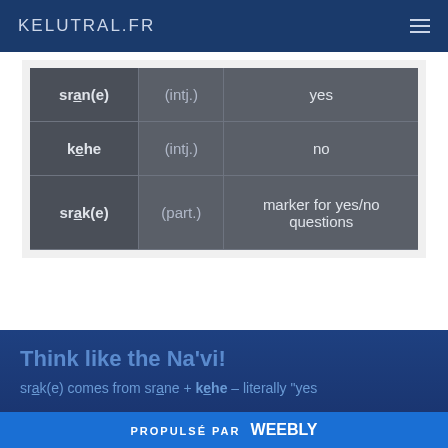KELUTRAL.FR
| word | part of speech | definition |
| --- | --- | --- |
| sran(e) | (intj.) | yes |
| kehe | (intj.) | no |
| srak(e) | (part.) | marker for yes/no questions |
Think like the Na'vi!
srak(e) comes from srane + kehe – literally "yes
PROPULSÉ PAR weebly